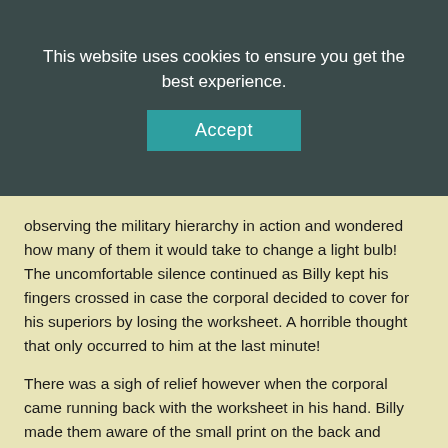This website uses cookies to ensure you get the best experience.
observing the military hierarchy in action and wondered how many of them it would take to change a light bulb! The uncomfortable silence continued as Billy kept his fingers crossed in case the corporal decided to cover for his superiors by losing the worksheet. A horrible thought that only occurred to him at the last minute!
There was a sigh of relief however when the corporal came running back with the worksheet in his hand. Billy made them aware of the small print on the back and emphasized his appropriate notation, automatically relieving him of responsibility – Assuming everything was conducted according to